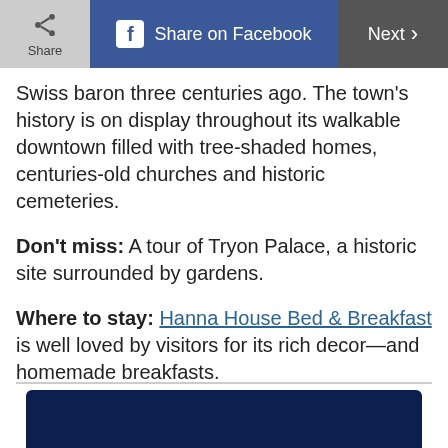Share | Share on Facebook | Next >
Swiss baron three centuries ago. The town's history is on display throughout its walkable downtown filled with tree-shaded homes, centuries-old churches and historic cemeteries.
Don't miss: A tour of Tryon Palace, a historic site surrounded by gardens.
Where to stay: Hanna House Bed & Breakfast is well loved by visitors for its rich decor—and homemade breakfasts.